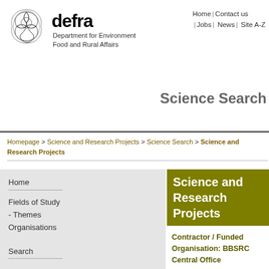[Figure (logo): Defra logo with triquetra symbol and text 'Department for Environment Food and Rural Affairs']
Home | Contact us | Jobs | News | Site A-Z
Science Search
Homepage > Science and Research Projects > Science Search > Science and Research Projects
Home
Fields of Study
- Themes
Organisations
Search
Science and Research Projects
Contractor / Funded Organisation: BBSRC Central Office
Detailed below are science projects undertaken for, or managed on behalf of, Defra by the Contractor/Funded Organisation selected.
View whole li...
Page 1 o...